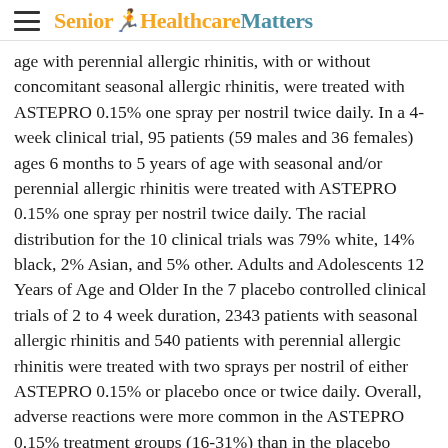Senior Healthcare Matters
age with perennial allergic rhinitis, with or without concomitant seasonal allergic rhinitis, were treated with ASTEPRO 0.15% one spray per nostril twice daily. In a 4-week clinical trial, 95 patients (59 males and 36 females) ages 6 months to 5 years of age with seasonal and/or perennial allergic rhinitis were treated with ASTEPRO 0.15% one spray per nostril twice daily. The racial distribution for the 10 clinical trials was 79% white, 14% black, 2% Asian, and 5% other. Adults and Adolescents 12 Years of Age and Older In the 7 placebo controlled clinical trials of 2 to 4 week duration, 2343 patients with seasonal allergic rhinitis and 540 patients with perennial allergic rhinitis were treated with two sprays per nostril of either ASTEPRO 0.15% or placebo once or twice daily. Overall, adverse reactions were more common in the ASTEPRO 0.15% treatment groups (16-31%) than in the placebo groups